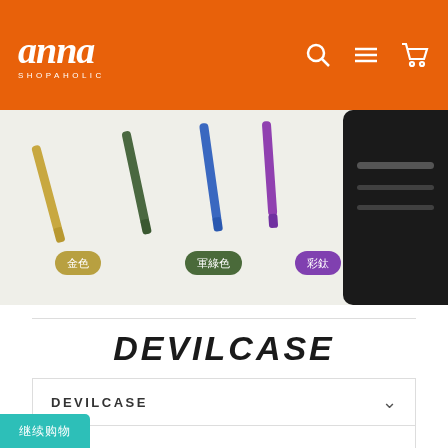Anna Shopaholic
[Figure (photo): Product image showing colored stylus pens (gold, army green, colorful/rainbow) with color badge labels in Chinese, alongside a black device case on the right side]
DEVILCASE
DEVILCASE